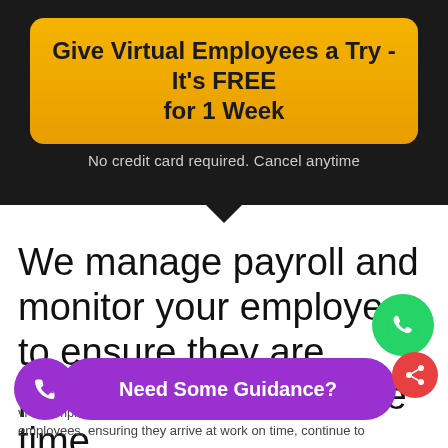Give Virtual Employees a Try - It's FREE for 1 Week
No credit card required. Cancel anytime
We manage payroll and monitor your employee to ensure they are productive 100% of the time
As we no... virtual employ... employees, ensuring they arrive at work on time, continue to
Need Some Guidance?